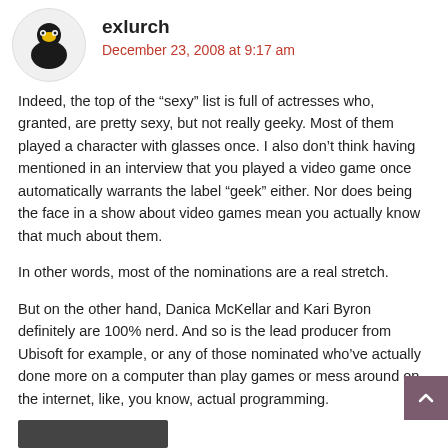[Figure (illustration): Round avatar with black and yellow character illustration]
exlurch
December 23, 2008 at 9:17 am
Indeed, the top of the “sexy” list is full of actresses who, granted, are pretty sexy, but not really geeky. Most of them played a character with glasses once. I also don’t think having mentioned in an interview that you played a video game once automatically warrants the label “geek” either. Nor does being the face in a show about video games mean you actually know that much about them.
In other words, most of the nominations are a real stretch.
But on the other hand, Danica McKellar and Kari Byron definitely are 100% nerd. And so is the lead producer from Ubisoft for example, or any of those nominated who’ve actually done more on a computer than play games or mess around on the internet, like, you know, actual programming.
★  Loading...